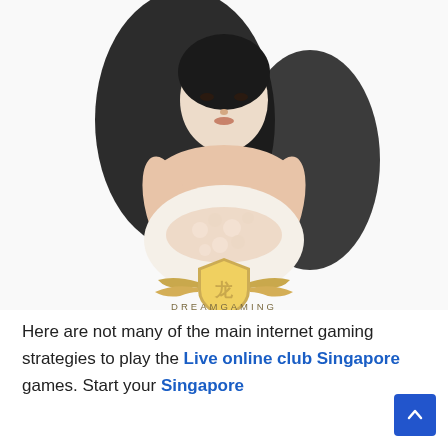[Figure (photo): A young East Asian woman with long dark flowing hair, wearing a white floral lace dress/top, arms crossed, against a white background. A gold DreamGaming shield logo with wings appears in the lower portion of the image, with 'DREAMGAMING' text below in spaced gold/gray letters.]
Here are not many of the main internet gaming strategies to play the Live online club Singapore games. Start your Singapore Online Casino Develop...